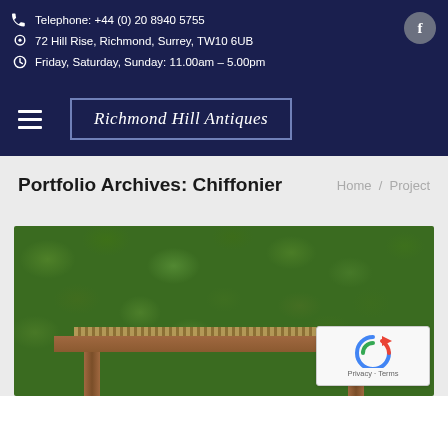Telephone: +44 (0) 20 8940 5755 | 72 Hill Rise, Richmond, Surrey, TW10 6UB | Friday, Saturday, Sunday: 11.00am – 5.00pm
Richmond Hill Antiques
Portfolio Archives: Chiffonier
Home / Project
[Figure (photo): A chiffonier antique piece of furniture with a decorative gallery rail on top, photographed outdoors against a dense green hedge background]